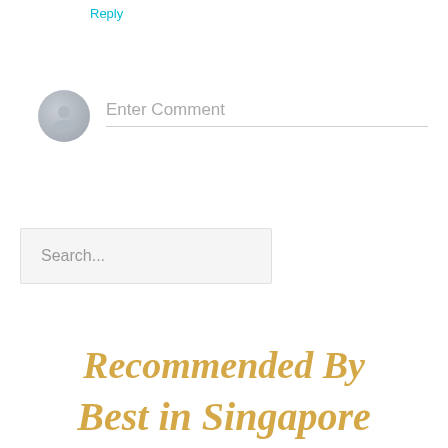Reply
[Figure (illustration): Gray circular avatar icon with a silhouette of a person, typical default user profile image]
Enter Comment
Search...
Recommended By Best in Singapore